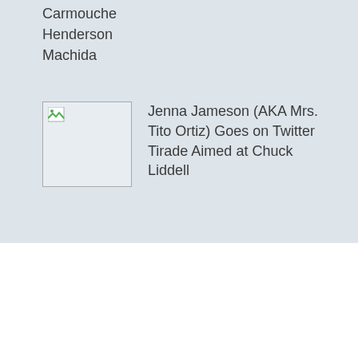Carmouche
Henderson
Machida
[Figure (photo): Broken image placeholder thumbnail]
Jenna Jameson (AKA Mrs. Tito Ortiz) Goes on Twitter Tirade Aimed at Chuck Liddell